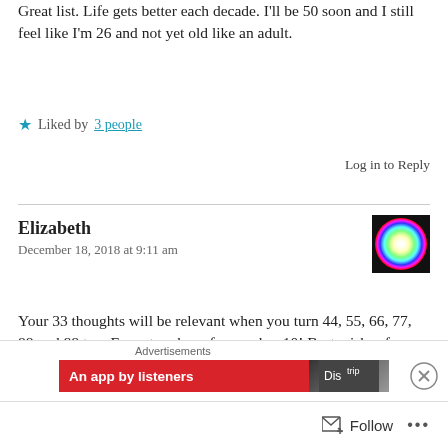Great list. Life gets better each decade. I'll be 50 soon and I still feel like I'm 26 and not yet old like an adult.
★ Liked by 3 people
Log in to Reply
Elizabeth
December 18, 2018 at 9:11 am
[Figure (illustration): Color wheel avatar image for user Elizabeth]
Your 33 thoughts will be relevant when you turn 44, 55, 66, 77, 88 and 99 too. Except perhaps for number 10! Best wishes for your year….happy birthday.
Advertisements
An app by listeners
Follow ...